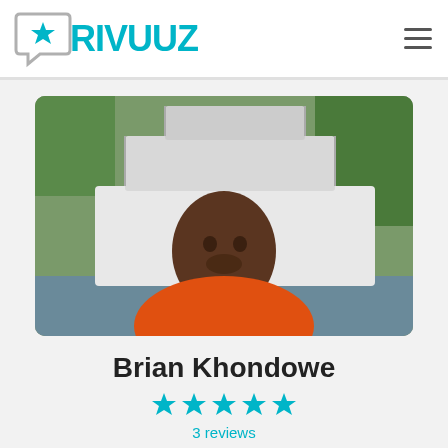RIVUUZ
[Figure (photo): Profile photo of Brian Khondowe standing in front of a white double-decker boat docked near a riverbank with trees in the background. He is wearing an orange shirt.]
Brian Khondowe
★★★★★
3 reviews